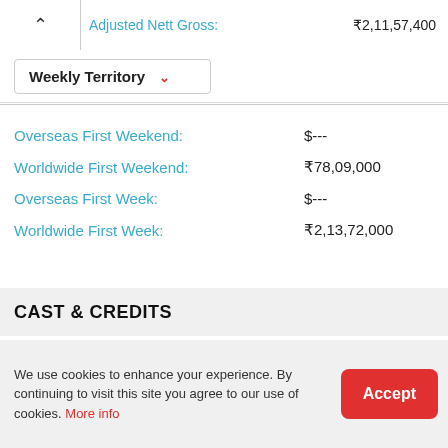Adjusted Nett Gross: ₹2,11,57,400
Weekly Territory
Overseas First Weekend: $---
Worldwide First Weekend: ₹78,09,000
Overseas First Week: $---
Worldwide First Week: ₹2,13,72,000
CAST & CREDITS
Production Banner: UTV Motion Pictures
We use cookies to enhance your experience. By continuing to visit this site you agree to our use of cookies. More info